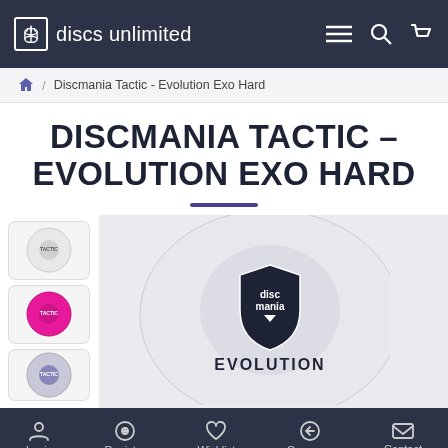discs unlimited
Discmania Tactic - Evolution Exo Hard
DISCMANIA TACTIC – EVOLUTION EXO HARD
[Figure (photo): Product page showing Discmania Tactic Evolution Exo Hard disc with thumbnail variants (white, pink, purple) on left and large main disc image with Discmania Evolution logo on right]
Login  Register  Wishlist  Compare  Contact